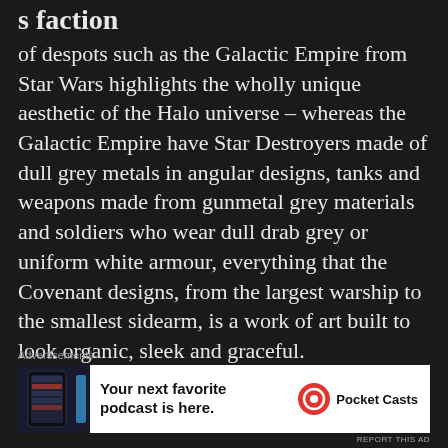s faction
of despots such as the Galactic Empire from Star Wars highlights the wholly unique aesthetic of the Halo universe – whereas the Galactic Empire have Star Destroyers made of dull grey metals in angular designs, tanks and weapons made from gunmetal grey materials and soldiers who wear dull drab grey or uniform white armour, everything that the Covenant designs, from the largest warship to the smallest sidearm, is a work of art built to look organic, sleek and graceful.
[Figure (other): Advertisement banner for Pocket Casts podcast app showing a phone screenshot and the text 'Your next favorite podcast is here.' with the Pocket Casts logo.]